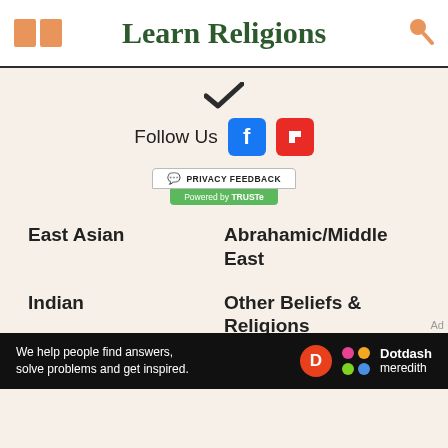Learn Religions
[Figure (illustration): Partial checkmark icon visible at top of content area]
Follow Us
[Figure (logo): Facebook blue square button with f icon and Flipboard red square button]
[Figure (logo): Privacy Feedback badge powered by TRUSTe]
East Asian
Abrahamic/Middle East
Indian
Other Beliefs & Religions
About Us
Advertise
[Figure (logo): Dotdash Meredith banner: We help people find answers, solve problems and get inspired.]